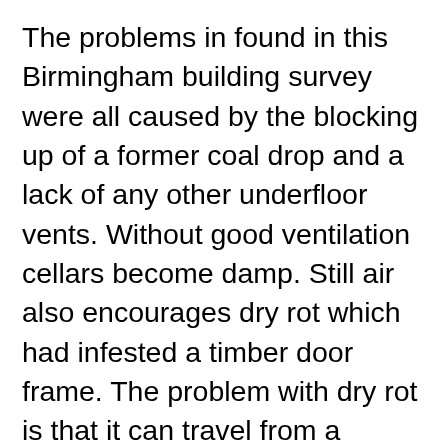The problems in found in this Birmingham building survey were all caused by the blocking up of a former coal drop and a lack of any other underfloor vents. Without good ventilation cellars become damp. Still air also encourages dry rot which had infested a timber door frame. The problem with dry rot is that it can travel from a source of moisture to other parts of the building which are dry, and if disturbed the fruits can expel millions of spores. The cellar also had a small plant growing on the wall which is probably wet rot. Beetles also like damp timber. Dust from their boring has been trapped by the cobwebs. The cellar also contained an open flued boiler which in an